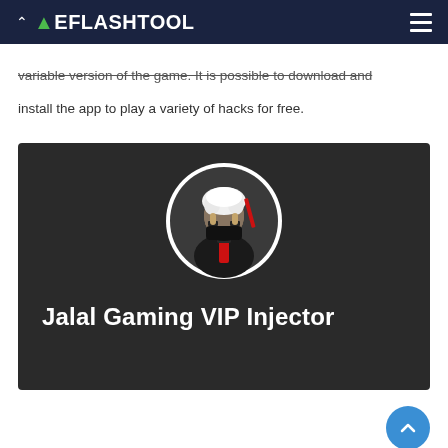FREEFLASHTOOL
variable version of the game. It is possible to download and install the app to play a variety of hacks for free.
[Figure (illustration): Dark background image showing a ninja/anime character avatar in a circular frame at the top, with white hair and black mask, wearing a dark outfit with red accents. Below the avatar is white bold text reading 'Jalal Gaming VIP Injector'.]